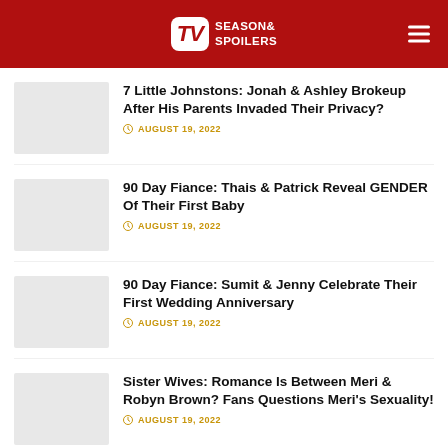TV Season & Spoilers
7 Little Johnstons: Jonah & Ashley Brokeup After His Parents Invaded Their Privacy?
AUGUST 19, 2022
90 Day Fiance: Thais & Patrick Reveal GENDER Of Their First Baby
AUGUST 19, 2022
90 Day Fiance: Sumit & Jenny Celebrate Their First Wedding Anniversary
AUGUST 19, 2022
Sister Wives: Romance Is Between Meri & Robyn Brown? Fans Questions Meri's Sexuality!
AUGUST 19, 2022